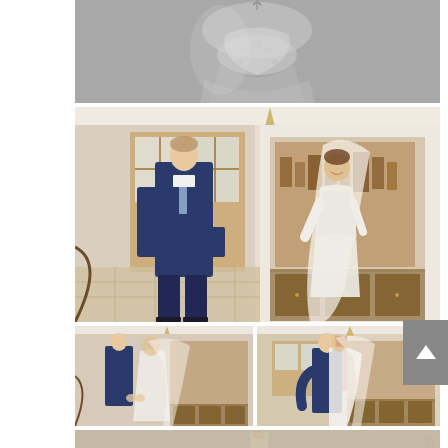[Figure (photo): Black and white close-up photo of a wedding dress with lace embroidery details, hanging or displayed.]
[Figure (photo): Color photo of a groom in a navy blue suit with light blue tie standing in a hallway with ornate tiled floor and wooden windows, and a bride in a long-sleeve lace wedding dress with veil, smiling, standing near decorative wall art panels.]
[Figure (photo): Color photo of groom and bride facing each other in the same hallway setting, groom holding bride's hand, first look moment.]
[Figure (photo): Color photo of groom embracing bride in the hallway, bride in veil being held by groom in navy suit, first look embrace.]
[Figure (photo): Partial color photo strip at the bottom showing another wedding scene, partially cropped.]